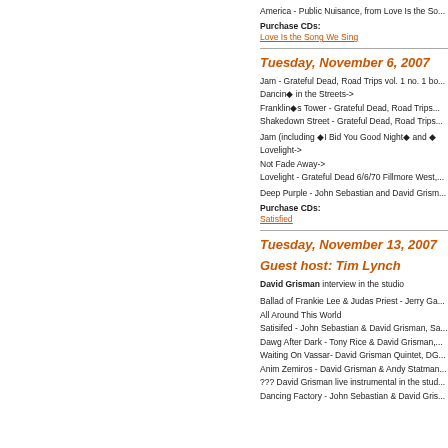America - Public Nuisance, from Love Is the So...
Purchase CDs:
Love Is the Song We Sing
Tuesday, November 6, 2007
Jam - Grateful Dead, Road Trips vol. 1 no. 1 bo... Dancin◆ in the Streets->
Franklin◆s Tower - Grateful Dead, Road Trips...
Shakedown Street - Grateful Dead, Road Trips...
Jam (including ◆I Bid You Good Night◆ and ◆ Lovelight->
Not Fade Away->
Lovelight - Grateful Dead 6/6/70 Fillmore West,...
Deep Purple - John Sebastian and David Grism...
Purchase CDs:
Satisfied
Tuesday, November 13, 2007
Guest host: Tim Lynch
David Grisman interview in the studio
Ballad of Frankie Lee & Judas Priest - Jerry Ga... All Around This World
Satisifed - John Sebastian & David Grisman, Sa...
Dawg After Dark - Tony Rice & David Grisman,...
Waiting On Vassar- David Grisman Quintet, DG...
Anim Zemiros - David Grisman & Andy Statman...
??? David Grisman live instrumental in the stud...
Dancing Factory - John Sebastian & David Gris...